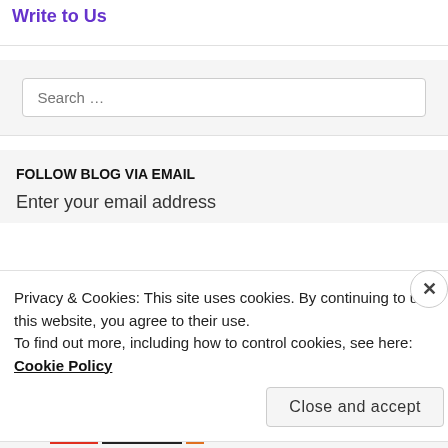Write to Us
Search …
FOLLOW BLOG VIA EMAIL
Enter your email address
Privacy & Cookies: This site uses cookies. By continuing to use this website, you agree to their use.
To find out more, including how to control cookies, see here: Cookie Policy
Close and accept